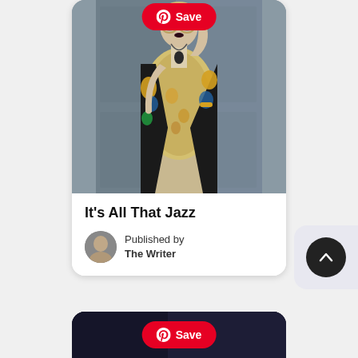[Figure (photo): A woman wearing round sunglasses, a yellow floral dress, and a black kimono with colorful dragon/floral pattern, standing in front of a weathered gray door. She has dark lipstick and is touching her sunglasses. A pendant necklace and gold bracelet are visible.]
It's All That Jazz
Published by
The Writer
[Figure (photo): Partial view of a second card at the bottom of the page showing a dark background, partially cropped.]